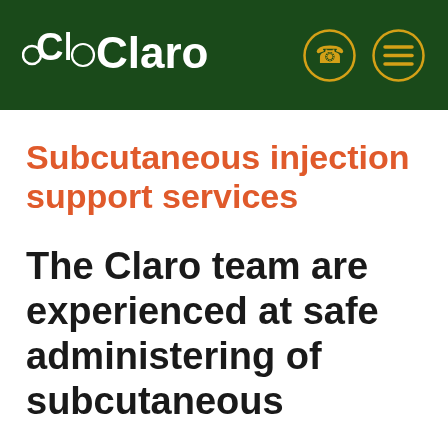Claro
Subcutaneous injection support services
The Claro team are experienced at safe administering of subcutaneous